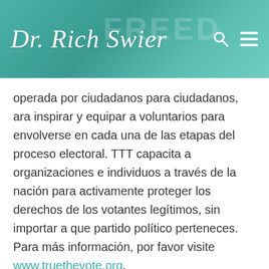Dr. Rich Swier
operada por ciudadanos para ciudadanos, ara inspirar y equipar a voluntarios para envolverse en cada una de las etapas del proceso electoral. TTT capacita a organizaciones e individuos a través de la nación para activamente proteger los derechos de los votantes legítimos, sin importar a que partido político perteneces. Para más información, por favor visite www.truethevote.org.